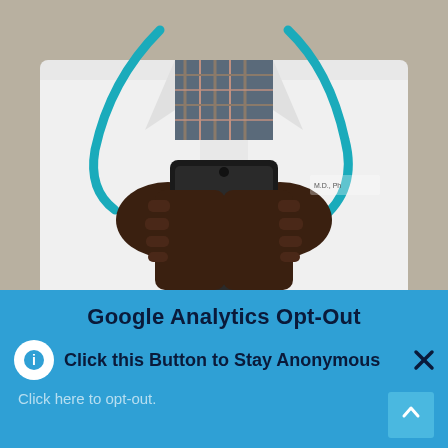[Figure (photo): A doctor wearing a white lab coat and stethoscope, holding a smartphone with both hands. The doctor is Black and the coat has a name badge. Shot from the chest down, no face visible.]
Google Analytics Opt-Out
Click this Button to Stay Anonymous
Click here to opt-out.